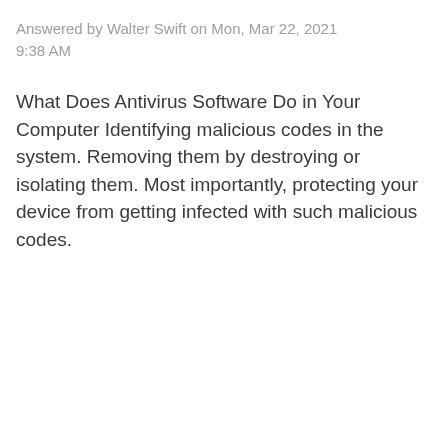Answered by Walter Swift on Mon, Mar 22, 2021 9:38 AM
What Does Antivirus Software Do in Your Computer Identifying malicious codes in the system. Removing them by destroying or isolating them. Most importantly, protecting your device from getting infected with such malicious codes.